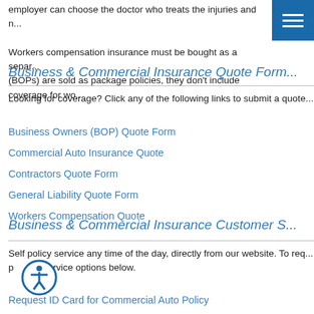employer can choose the doctor who treats the injuries and n... Workers compensation insurance must be bought as a separate policy. (BOPs) are sold as package policies, they don't include coverage for wo...
Business & Commercial Insurance Quote Form
Looking for coverage? Click any of the following links to submit a quote...
Business Owners (BOP) Quote Form
Commercial Auto Insurance Quote
Contractors Quote Form
General Liability Quote Form
Workers Compensation Quote
Business & Commercial Insurance Customer S...
Self policy service any time of the day, directly from our website. To req... p... rvice options below.
Request ID Card for Commercial Auto Policy